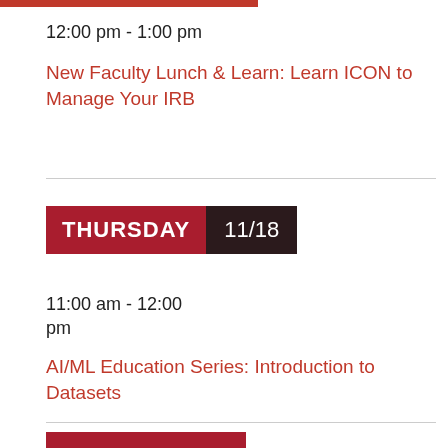12:00 pm - 1:00 pm
New Faculty Lunch & Learn: Learn ICON to Manage Your IRB
THURSDAY 11/18
11:00 am - 12:00 pm
AI/ML Education Series: Introduction to Datasets